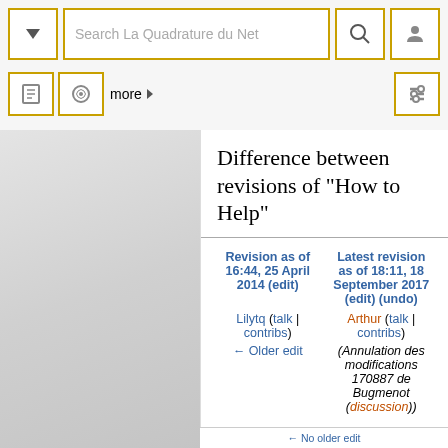[Figure (screenshot): MediaWiki top navigation bar with search box labeled 'Search La Quadrature du Net', dropdown button, search icon, user icon, page icon, talk icon, 'more' link, and settings wrench icon]
Difference between revisions of "How to Help"
| Revision as of 16:44, 25 April 2014 (edit) | Latest revision as of 18:11, 18 September 2017 (edit) (undo) |
| --- | --- |
| Lilytq (talk | contribs) | Arthur (talk | contribs) |
| ← Older edit | (Annulation des modifications 170887 de Bugmenot (discussion)) |
← No older edit